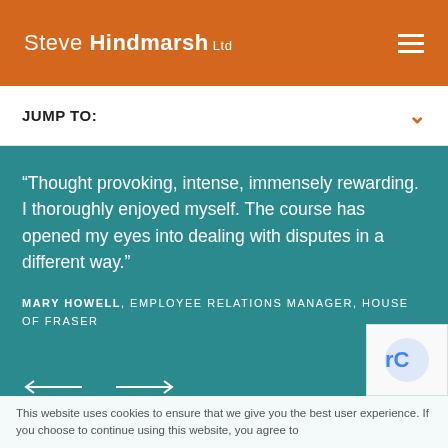Steve Hindmarsh Ltd
JUMP TO:
“Thought provoking, intense, immensely rewarding. I thoroughly enjoyed myself. The course has opened my eyes into dealing with disputes in a different way.”
MARY HOWELL, EMPLOYEE RELATIONS MANAGER, HOUSE OF FRASER
This website uses cookies to ensure that we give you the best user experience. If you choose to continue using this website, you agree to